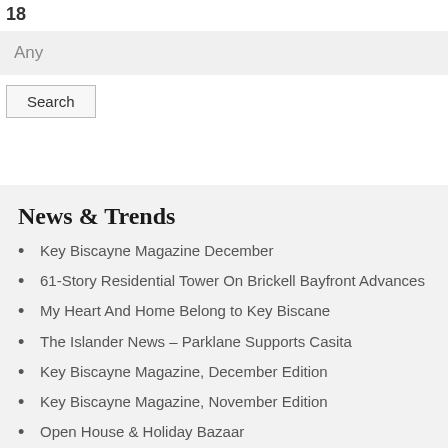18
Any
Search
News & Trends
Key Biscayne Magazine December
61-Story Residential Tower On Brickell Bayfront Advances
My Heart And Home Belong to Key Biscane
The Islander News – Parklane Supports Casita
Key Biscayne Magazine, December Edition
Key Biscayne Magazine, November Edition
Open House & Holiday Bazaar
Key Biscayne Magazine, September/October Edition